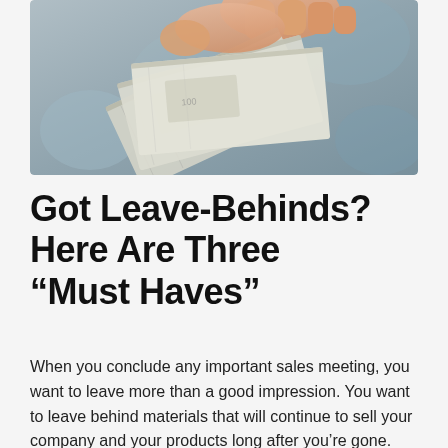[Figure (photo): A hand holding and fanning out a stack of paper currency (banknotes), with a blurred background.]
Got Leave-Behinds? Here Are Three “Must Haves”
When you conclude any important sales meeting, you want to leave more than a good impression. You want to leave behind materials that will continue to sell your company and your products long after you’re gone. Let’s look at three great leave-behinds to leave